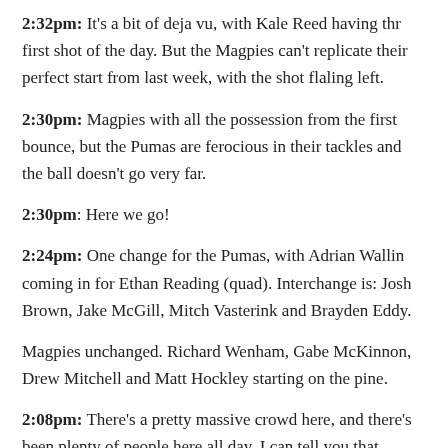2:32pm: It's a bit of deja vu, with Kale Reed having thr first shot of the day. But the Magpies can't replicate their perfect start from last week, with the shot flaling left.
2:30pm: Magpies with all the possession from the first bounce, but the Pumas are ferocious in their tackles and the ball doesn't go very far.
2:30pm: Here we go!
2:24pm: One change for the Pumas, with Adrian Wallin coming in for Ethan Reading (quad). Interchange is: Josh Brown, Jake McGill, Mitch Vasterink and Brayden Eddy.
Magpies unchanged. Richard Wenham, Gabe McKinnon, Drew Mitchell and Matt Hockley starting on the pine.
2:08pm: There's a pretty massive crowd here, and there's been plenty of people here all day. I can tell you that firsthand, partly because I am here, but partly because I had to put all of my limited parking skills to use, trying to fit between a ute and